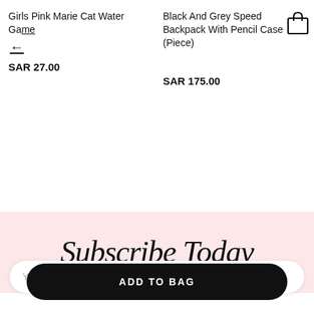Girls Pink Marie Cat Water Game
SAR 27.00
Black And Grey Speed Backpack With Pencil Case Piece)
SAR 175.00
[Figure (illustration): Shopping bag icon outline]
[Figure (illustration): Decorative dot pattern rows in pink/light red color]
Subscribe Today
Your Email Address
ADD TO BAG